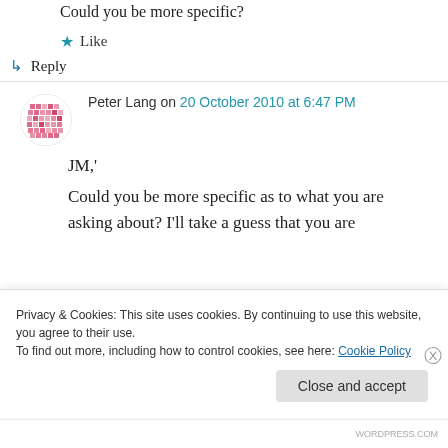Could you be more specific?
★ Like
↳ Reply
Peter Lang on 20 October 2010 at 6:47 PM
JM,'
Could you be more specific as to what you are asking about? I'll take a guess that you are
Privacy & Cookies: This site uses cookies. By continuing to use this website, you agree to their use. To find out more, including how to control cookies, see here: Cookie Policy
Close and accept